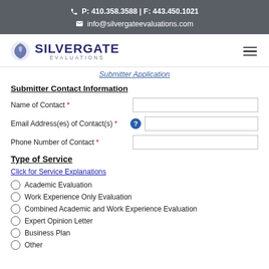P: 410.358.3588 | F: 443.450.1021
info@silvergateevaluations.com
[Figure (logo): Silvergate Evaluations logo with stylized eagle/shield icon and text 'SILVERGATE EVALUATIONS']
Submitter Application (partial, cut off)
Submitter Contact Information
Name of Contact *
Email Address(es) of Contact(s) *
Phone Number of Contact *
Type of Service
Click for Service Explanations
Academic Evaluation
Work Experience Only Evaluation
Combined Academic and Work Experience Evaluation
Expert Opinion Letter
Business Plan
Other